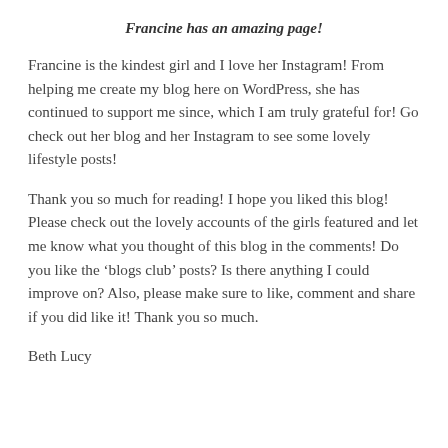Francine has an amazing page!
Francine is the kindest girl and I love her Instagram! From helping me create my blog here on WordPress, she has continued to support me since, which I am truly grateful for! Go check out her blog and her Instagram to see some lovely lifestyle posts!
Thank you so much for reading! I hope you liked this blog! Please check out the lovely accounts of the girls featured and let me know what you thought of this blog in the comments! Do you like the ‘blogs club’ posts? Is there anything I could improve on? Also, please make sure to like, comment and share if you did like it! Thank you so much.
Beth Lucy